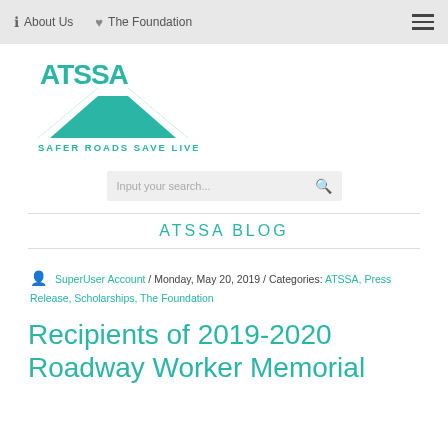About Us  |  The Foundation
[Figure (logo): ATSSA logo with teal road graphic and tagline SAFER ROADS SAVE LIVES]
Input your search...
ATSSA BLOG
SuperUser Account / Monday, May 20, 2019 / Categories: ATSSA, Press Release, Scholarships, The Foundation
Recipients of 2019-2020 Roadway Worker Memorial